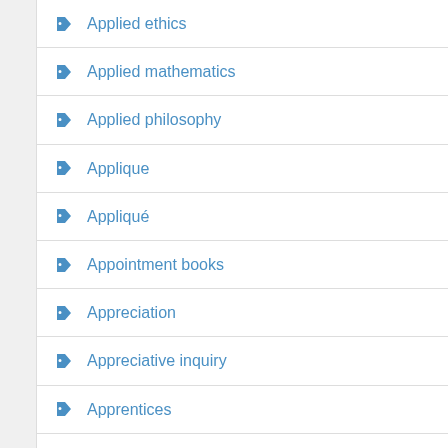Applied ethics
Applied mathematics
Applied philosophy
Applique
Appliqué
Appointment books
Appreciation
Appreciative inquiry
Apprentices
Apprenticeship programs
Appropriations and expenditures